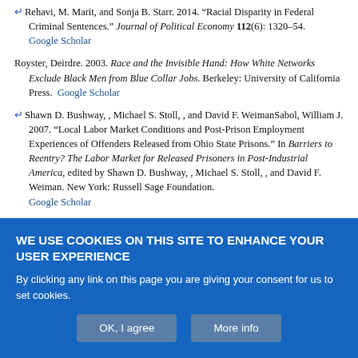Rehavi, M. Marit, and Sonja B. Starr. 2014. "Racial Disparity in Federal Criminal Sentences." Journal of Political Economy 112(6): 1320–54. Google Scholar
Royster, Deirdre. 2003. Race and the Invisible Hand: How White Networks Exclude Black Men from Blue Collar Jobs. Berkeley: University of California Press. Google Scholar
Shawn D. Bushway, , Michael S. Stoll, , and David F. WeimanSabol, William J. 2007. "Local Labor Market Conditions and Post-Prison Employment Experiences of Offenders Released from Ohio State Prisons." In Barriers to Reentry? The Labor Market for Released Prisoners in Post-Industrial America, edited by Shawn D. Bushway, , Michael S. Stoll, , and David F. Weiman. New York: Russell Sage Foundation. Google Scholar
WE USE COOKIES ON THIS SITE TO ENHANCE YOUR USER EXPERIENCE
By clicking any link on this page you are giving your consent for us to set cookies.